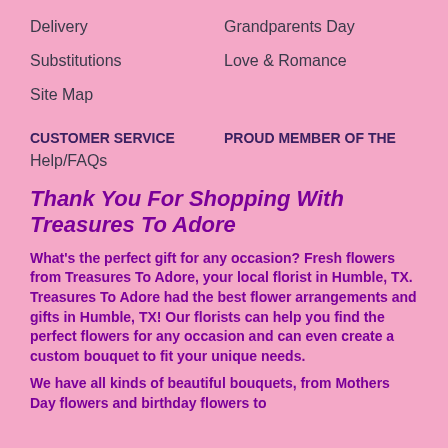Delivery
Grandparents Day
Substitutions
Love & Romance
Site Map
CUSTOMER SERVICE
PROUD MEMBER OF THE
Help/FAQs
Thank You For Shopping With Treasures To Adore
What's the perfect gift for any occasion?  Fresh flowers from Treasures To Adore, your local florist in Humble, TX. Treasures To Adore had the best flower arrangements and gifts in Humble, TX! Our florists can help you find the perfect flowers for any occasion and can even create a custom bouquet to fit your unique needs.
We have all kinds of beautiful bouquets, from Mothers Day flowers and birthday flowers to